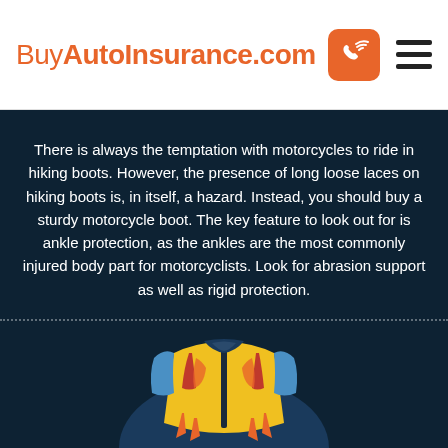BuyAutoInsurance.com
There is always the temptation with motorcycles to ride in hiking boots. However, the presence of long loose laces on hiking boots is, in itself, a hazard. Instead, you should buy a sturdy motorcycle boot. The key feature to look out for is ankle protection, as the ankles are the most commonly injured body part for motorcyclists. Look for abrasion support as well as rigid protection.
[Figure (illustration): Illustration of a motorcycle jacket (yellow, blue, and orange/red design) shown from the front, partially visible at the bottom of the dark section.]